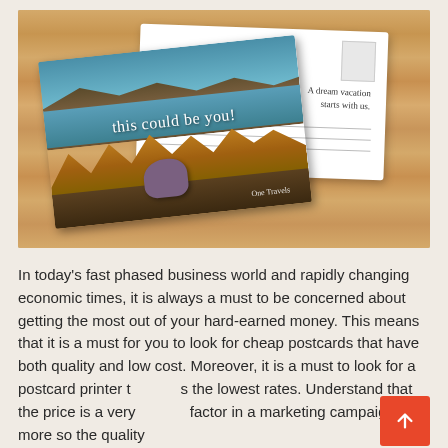[Figure (photo): Photo of two postcards on a wooden table. The front postcard shows a scenic mountain lake landscape with autumn trees and a person's sneaker at the bottom with script text 'this could be you!' and 'One Travels' branding. A white postcard behind it has script text 'A dream vacation starts with us.' on the right side with stamp and address lines.]
In today's fast phased business world and rapidly changing economic times, it is always a must to be concerned about getting the most out of your hard-earned money. This means that it is a must for you to look for cheap postcards that have both quality and low cost. Moreover, it is a must to look for a postcard printer that offers the lowest rates. Understand that the price is a very important factor in a marketing campaign, but more so the quality